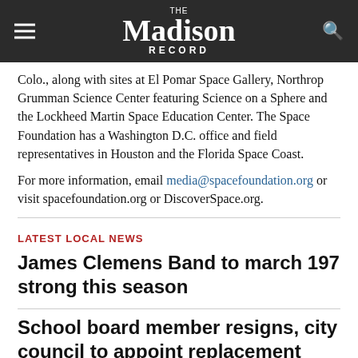The Madison Record
Colo., along with sites at El Pomar Space Gallery, Northrop Grumman Science Center featuring Science on a Sphere and the Lockheed Martin Space Education Center. The Space Foundation has a Washington D.C. office and field representatives in Houston and the Florida Space Coast.
For more information, email media@spacefoundation.org or visit spacefoundation.org or DiscoverSpace.org.
LATEST LOCAL NEWS
James Clemens Band to march 197 strong this season
School board member resigns, city council to appoint replacement